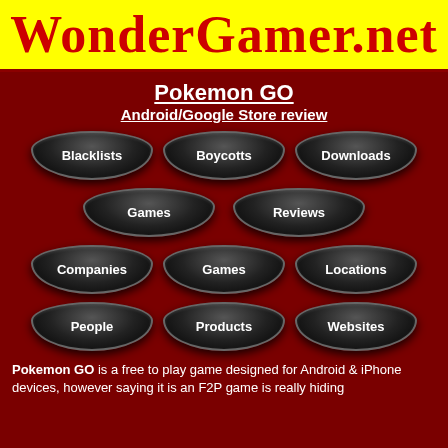WonderGamer.net
Pokemon GO
Android/Google Store review
Blacklists
Boycotts
Downloads
Games
Reviews
Companies
Games
Locations
People
Products
Websites
Pokemon GO is a free to play game designed for Android & iPhone devices, however saying it is an F2P game is really hiding